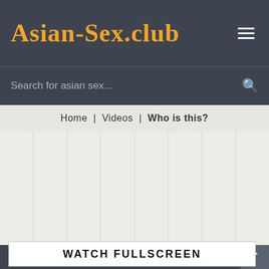Asian-Sex.club
Search for asian sex...
Home | Videos | Who is this?
[Figure (screenshot): Striped light-colored content area with vertical column dividers]
WATCH FULLSCREEN